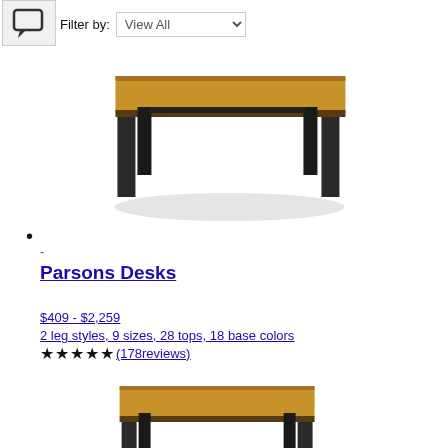[Figure (screenshot): Chat/comment bubble icon in a light gray box]
Filter by: View All
[Figure (photo): Parsons desk with warm wood top and dark metal frame legs, viewed at slight angle, with shadow]
•
-
Parsons Desks
$409 - $2,259
2 leg styles, 9 sizes, 28 tops, 18 base colors
★★★★★(178reviews)
[Figure (photo): Partial view of another Parsons desk with wood top and dark metal frame, cropped at bottom of page]